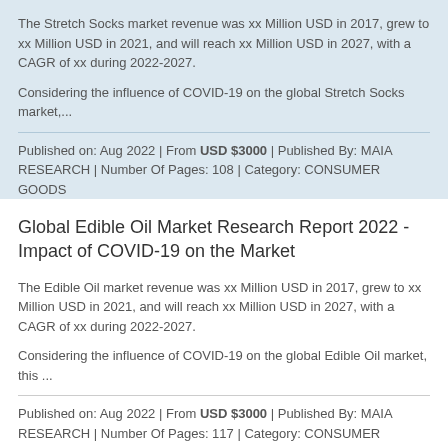The Stretch Socks market revenue was xx Million USD in 2017, grew to xx Million USD in 2021, and will reach xx Million USD in 2027, with a CAGR of xx during 2022-2027.
Considering the influence of COVID-19 on the global Stretch Socks market,...
Published on: Aug 2022 | From USD $3000 | Published By: MAIA RESEARCH | Number Of Pages: 108 | Category: CONSUMER GOODS
Global Edible Oil Market Research Report 2022 - Impact of COVID-19 on the Market
The Edible Oil market revenue was xx Million USD in 2017, grew to xx Million USD in 2021, and will reach xx Million USD in 2027, with a CAGR of xx during 2022-2027.
Considering the influence of COVID-19 on the global Edible Oil market, this ...
Published on: Aug 2022 | From USD $3000 | Published By: MAIA RESEARCH | Number Of Pages: 117 | Category: CONSUMER GOODS
Global Chemical Sunscreen Market Research Report